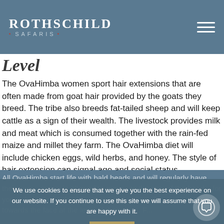ROTHSCHILD SAFARIS
Level
The OvaHimba women sport hair extensions that are often made from goat hair provided by the goats they breed. The tribe also breeds fat-tailed sheep and will keep cattle as a sign of their wealth. The livestock provides milk and meat which is consumed together with the rain-fed maize and millet they farm. The OvaHimba diet will include chicken eggs, wild herbs, and honey. The style of hair extension can signal age and social status.
All OvaHimba start life with bald heads and will regularly have their... crown is allowed to grow... to the rear of the head... for young boys and little girls... two braided hair pla... are angled towards the face at the level of their eyes. F...
We use cookies to ensure that we give you the best experience on our website. If you continue to use this site we will assume that you are happy with it.